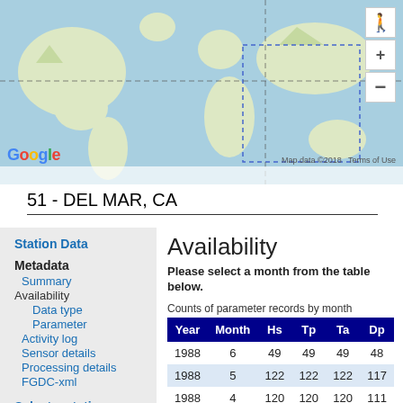[Figure (map): World map (Google Maps) showing ocean and land mass with a dashed blue boundary line, zoom controls, and pegman icon on the right side. Google logo bottom-left, map data copyright bottom-right.]
Map data ©2018   Terms of Use
51 - DEL MAR, CA
Station Data
Metadata
Summary
Availability
Data type
Parameter
Activity log
Sensor details
Processing details
FGDC-xml
Select a station
Availability
Please select a month from the table below.
Counts of parameter records by month
| Year | Month | Hs | Tp | Ta | Dp |
| --- | --- | --- | --- | --- | --- |
| 1988 | 6 | 49 | 49 | 49 | 48 |
| 1988 | 5 | 122 | 122 | 122 | 117 |
| 1988 | 4 | 120 | 120 | 120 | 111 |
| 1988 | 3 | 119 | 119 | 119 | 110 |